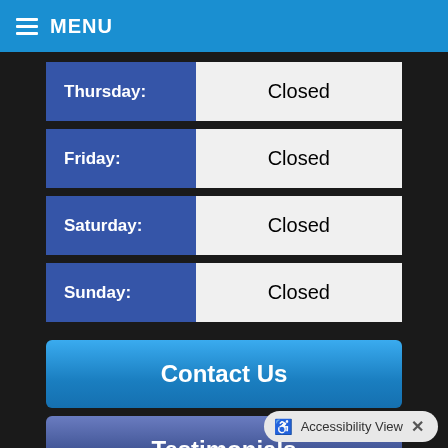MENU
| Day | Status |
| --- | --- |
| Thursday: | Closed |
| Friday: | Closed |
| Saturday: | Closed |
| Sunday: | Closed |
Contact Us
Testimonials
Accessibility View